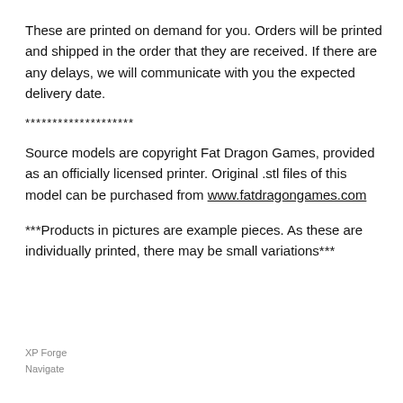These are printed on demand for you. Orders will be printed and shipped in the order that they are received. If there are any delays, we will communicate with you the expected delivery date.
********************
Source models are copyright Fat Dragon Games, provided as an officially licensed printer. Original .stl files of this model can be purchased from www.fatdragongames.com
***Products in pictures are example pieces. As these are individually printed, there may be small variations***
XP Forge
Navigate